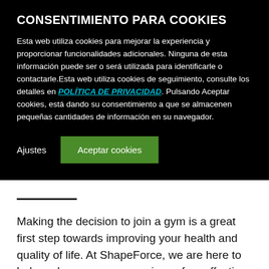CONSENTIMIENTO PARA COOKIES
Esta web utiliza cookies para mejorar la experiencia y proporcionar funcionalidades adicionales. Ninguna de esta información puede ser o será utilizada para identificarle o contactarle.Esta web utiliza cookies de seguimiento, consulte los detalles en POLÍTICA DE PRIVACIDAD. Pulsando Aceptar cookies, está dando su consentimiento a que se almacenen pequeñas cantidades de información en su navegador.
Ajustes | Aceptar cookies
Making the decision to join a gym is a great first step towards improving your health and quality of life. At ShapeForce, we are here to help make your gym experience fun, effective and easy. For over 10 years,